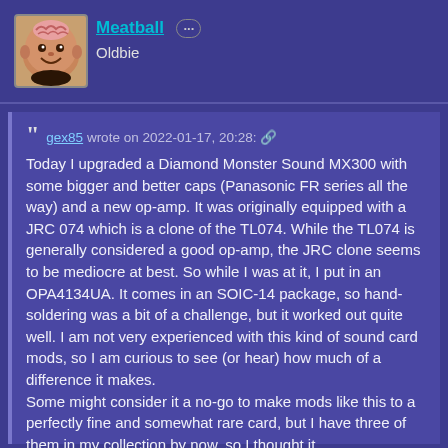[Figure (illustration): Avatar image of a cartoon meatball character with a smiling face]
Meatball ··· Oldbie
gex85 wrote on 2022-01-17, 20:28: 🔗 Today I upgraded a Diamond Monster Sound MX300 with some bigger and better caps (Panasonic FR series all the way) and a new op-amp. It was originally equipped with a JRC 074 which is a clone of the TL074. While the TL074 is generally considered a good op-amp, the JRC clone seems to be mediocre at best. So while I was at it, I put in an OPA4134UA. It comes in an SOIC-14 package, so hand-soldering was a bit of a challenge, but it worked out quite well. I am not very experienced with this kind of sound card mods, so I am curious to see (or hear) how much of a difference it makes.
Some might consider it a no-go to make mods like this to a perfectly fine and somewhat rare card, but I have three of them in my collection by now, so I thought it